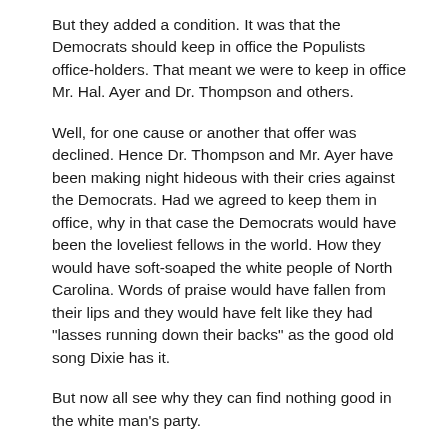But they added a condition. It was that the Democrats should keep in office the Populists office-holders. That meant we were to keep in office Mr. Hal. Ayer and Dr. Thompson and others.
Well, for one cause or another that offer was declined. Hence Dr. Thompson and Mr. Ayer have been making night hideous with their cries against the Democrats. Had we agreed to keep them in office, why in that case the Democrats would have been the loveliest fellows in the world. How they would have soft-soaped the white people of North Carolina. Words of praise would have fallen from their lips and they would have felt like they had "lasses running down their backs" as the good old song Dixie has it.
But now all see why they can find nothing good in the white man's party.
We are proud that they can find nothing to complain of that is not frivolous.
Let the intelligent people of the State decide.